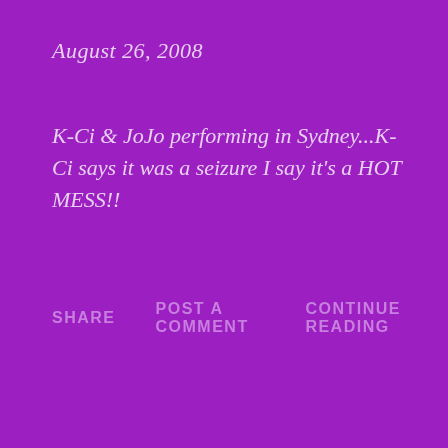August 26, 2008
K-Ci & JoJo performing in Sydney...K-Ci says it was a seizure I say it's a HOT MESS!!
SHARE    POST A COMMENT                        CONTINUE READING